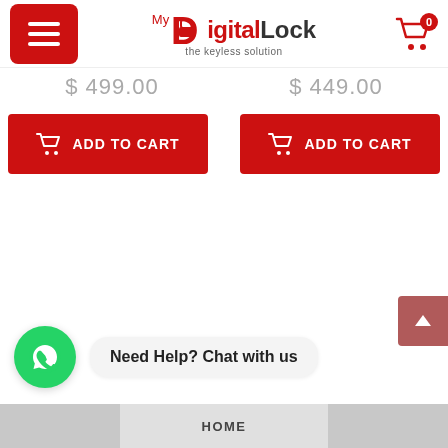My DigitalLock – the keyless solution
$ 499.00
$ 449.00
ADD TO CART
ADD TO CART
Need Help? Chat with us
HOME